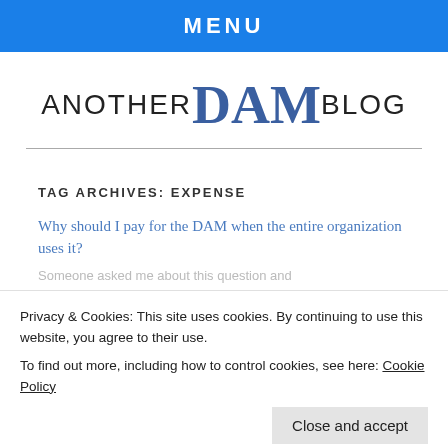MENU
[Figure (logo): Another DAM Blog logo with 'ANOTHER' and 'BLOG' in black sans-serif, 'DAM' in large blue serif font]
TAG ARCHIVES: EXPENSE
Why should I pay for the DAM when the entire organization uses it?
Someone asked me about this question and
Privacy & Cookies: This site uses cookies. By continuing to use this website, you agree to their use.
To find out more, including how to control cookies, see here: Cookie Policy
Close and accept